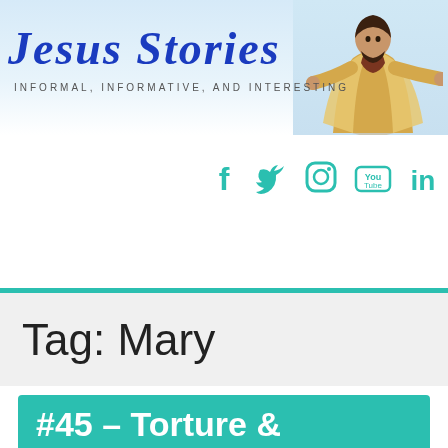[Figure (illustration): Jesus Stories website header banner with a person in robes with outstretched arms on the right side against a light blue background]
Jesus Stories
INFORMAL, INFORMATIVE, AND INTERESTING
[Figure (infographic): Social media icons: Facebook (f), Twitter (bird), Instagram (circle camera), YouTube (Tube box), LinkedIn (in) — all in teal color]
[Figure (infographic): Hamburger menu button (three horizontal lines in a rounded rectangle border)]
Tag: Mary
#45 – Torture &